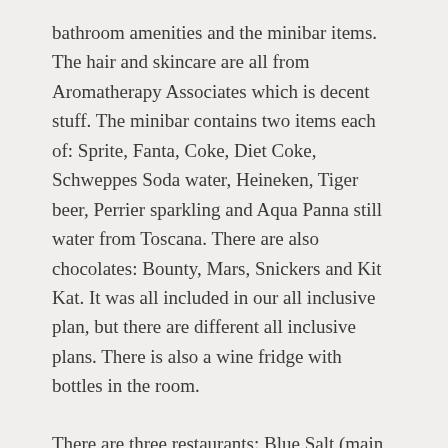bathroom amenities and the minibar items. The hair and skincare are all from Aromatherapy Associates which is decent stuff. The minibar contains two items each of: Sprite, Fanta, Coke, Diet Coke, Schweppes Soda water, Heineken, Tiger beer, Perrier sparkling and Aqua Panna still water from Toscana. There are also chocolates: Bounty, Mars, Snickers and Kit Kat. It was all included in our all inclusive plan, but there are different all inclusive plans. There is also a wine fridge with bottles in the room.
There are three restaurants: Blue Salt (main restaurant), Nalah Rah and the Deck. You can have the Blue Salt menu on the Deck for dinner if you wish.